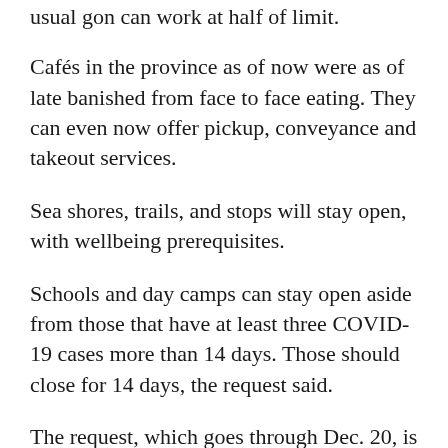usual gon can work at half of limit.
Cafés in the province as of now were as of late banished from face to face eating. They can even now offer pickup, conveyance and takeout services.
Sea shores, trails, and stops will stay open, with wellbeing prerequisites.
Schools and day camps can stay open aside from those that have at least three COVID-19 cases more than 14 days. Those should close for 14 days, the request said.
The request, which goes through Dec. 20, is more humble than a statewide conclusion request gave by Gov. Gavin Newsom in mid-March. That